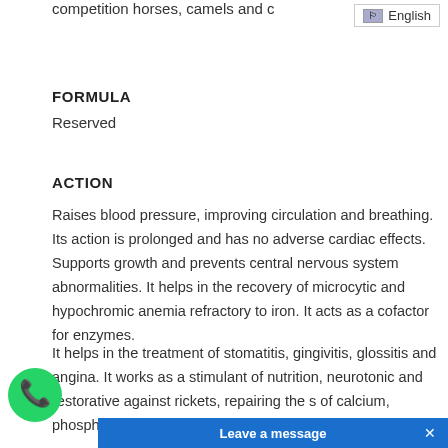competition horses, camels and ...
FORMULA
Reserved
ACTION
Raises blood pressure, improving circulation and breathing. Its action is prolonged and has no adverse cardiac effects. Supports growth and prevents central nervous system abnormalities. It helps in the recovery of microcytic and hypochromic anemia refractory to iron. It acts as a cofactor for enzymes.
It helps in the treatment of stomatitis, gingivitis, glossitis and angina. It works as a stimulant of nutrition, neurotonic and restorative against rickets, repairing the s of calcium, phosphorus, manganese, potassium sodium from the body.